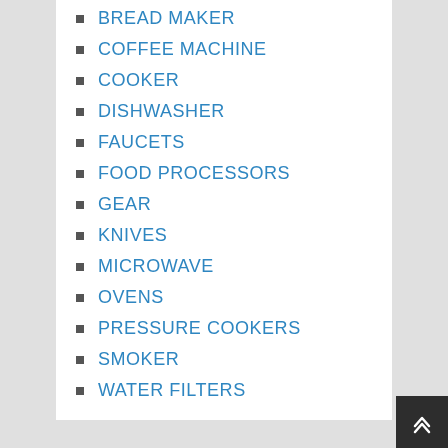BREAD MAKER
COFFEE MACHINE
COOKER
DISHWASHER
FAUCETS
FOOD PROCESSORS
GEAR
KNIVES
MICROWAVE
OVENS
PRESSURE COOKERS
SMOKER
WATER FILTERS